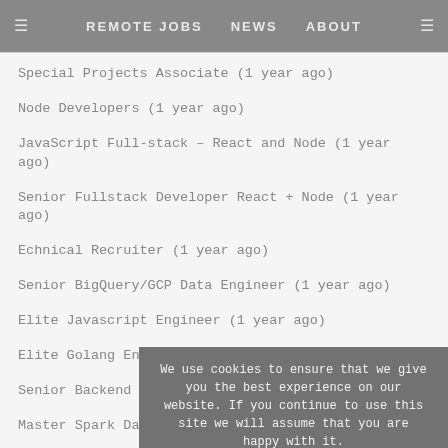REMOTE JOBS  NEWS  ABOUT
Special Projects Associate (1 year ago)
Node Developers (1 year ago)
JavaScript Full-stack – React and Node (1 year ago)
Senior Fullstack Developer React + Node (1 year ago)
Echnical Recruiter (1 year ago)
Senior BigQuery/GCP Data Engineer (1 year ago)
Elite Javascript Engineer (1 year ago)
Elite Golang Engineer (1 year ago)
Senior Backend Engineer – Node Guru (1 year ago)
Master Spark Data Engineer (1 year ago)
Elite React Engineer (1 year ago)
We use cookies to ensure that we give you the best experience on our website. If you continue to use this site we will assume that you are happy with it.